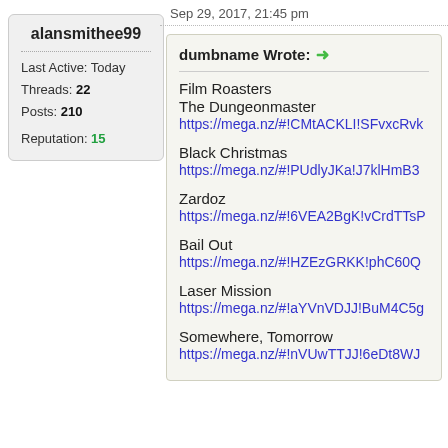alansmithee99
Last Active: Today
Threads: 22
Posts: 210
Reputation: 15
Sep 29, 2017, 21:45 pm
dumbname Wrote: →
Film Roasters
The Dungeonmaster
https://mega.nz/#!CMtACKLI!SFvxcRv...
Black Christmas
https://mega.nz/#!PUdlyJKa!J7klHmB3...
Zardoz
https://mega.nz/#!6VEA2BgK!vCrdTTs...
Bail Out
https://mega.nz/#!HZEzGRKK!phC60Q...
Laser Mission
https://mega.nz/#!aYVnVDJJ!BuM4C5g...
Somewhere, Tomorrow
https://mega.nz/#!nVUwTTJJ!6eDt8WJ...